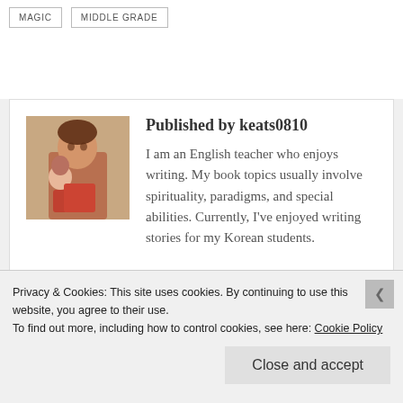MAGIC
MIDDLE GRADE
Published by keats0810
I am an English teacher who enjoys writing. My book topics usually involve spirituality, paradigms, and special abilities. Currently, I've enjoyed writing stories for my Korean students.
Privacy & Cookies: This site uses cookies. By continuing to use this website, you agree to their use.
To find out more, including how to control cookies, see here: Cookie Policy
Close and accept